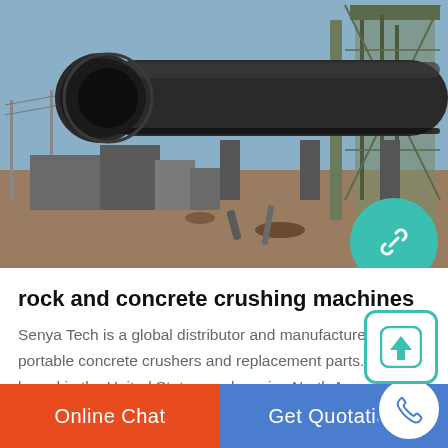[Figure (photo): Industrial heavy equipment photo showing a large cylindrical rotary drum/kiln on a construction or mining site, with industrial cranes and steel structures in the background, dusty ground.]
rock and concrete crushing machines
Senya Tech is a global distributor and manufacturer of portable concrete crushers and replacement parts. We are based in the United States, and service North America, Europe, and Africa. Our catalog features a wide array of quality rock crushers and related concrete and rock crushing equipment for …
Online Chat   Get Quotation